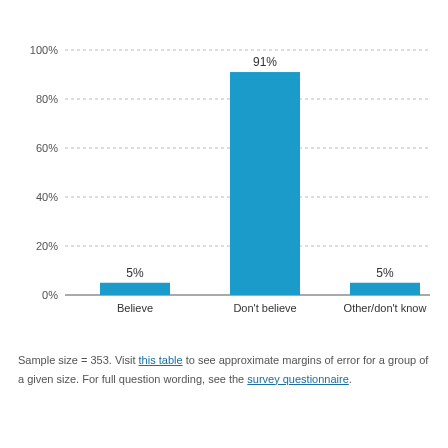[Figure (bar-chart): ]
Sample size = 353. Visit this table to see approximate margins of error for a group of a given size. For full question wording, see the survey questionnaire.